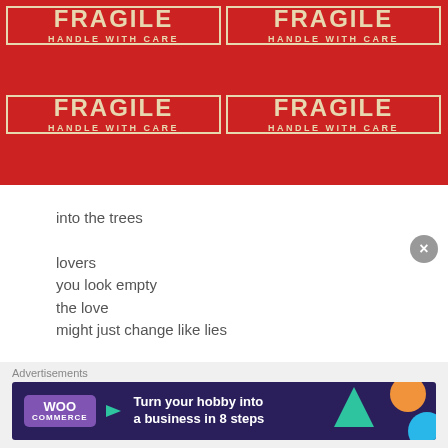[Figure (photo): Four red FRAGILE HANDLE WITH CARE sticker labels arranged in a 2x2 grid on a red background. Each label has a cream/beige border and text in cream/beige color reading FRAGILE in large letters and HANDLE WITH CARE below it in smaller letters.]
into the trees
lovers
you look empty
the love
might just change like lies
Advertisements
[Figure (screenshot): WooCommerce advertisement banner with dark navy background, teal triangle shape, orange shape, blue circle shape, WooCommerce purple logo on left, and text reading Turn your hobby into a business in 8 steps]